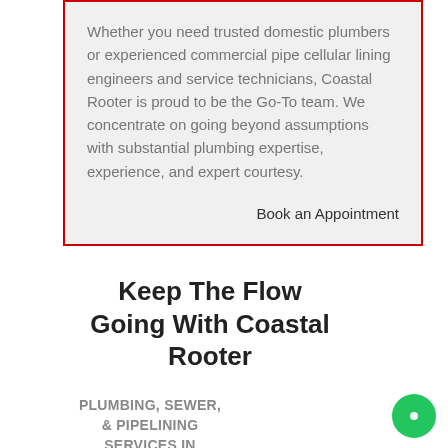Whether you need trusted domestic plumbers or experienced commercial pipe cellular lining engineers and service technicians, Coastal Rooter is proud to be the Go-To team. We concentrate on going beyond assumptions with substantial plumbing expertise, experience, and expert courtesy.
Book an Appointment
Keep The Flow Going With Coastal Rooter
PLUMBING, SEWER, & PIPELINING SERVICES IN SANTEE, CA